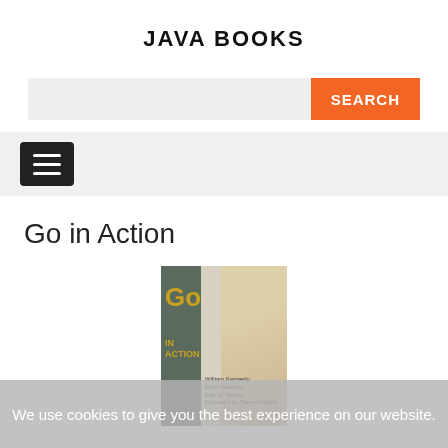JAVA BOOKS
[Figure (screenshot): Search bar with orange SEARCH button]
[Figure (screenshot): Navigation hamburger menu button on grey bar]
Go in Action
[Figure (photo): Book cover for 'Go in Action' showing a warrior figure on the right and green spine with gold GO text]
We use cookies to give you the best experience on our website.